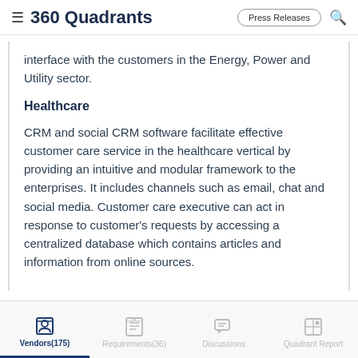360 Quadrants
interface with the customers in the Energy, Power and Utility sector.
Healthcare
CRM and social CRM software facilitate effective customer care service in the healthcare vertical by providing an intuitive and modular framework to the enterprises. It includes channels such as email, chat and social media. Customer care executive can act in response to customer's requests by accessing a centralized database which contains articles and information from online sources.
Vendors(175)  Requirements(36)  Discussions  Quadrant Report